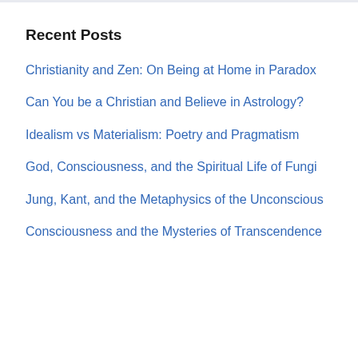Recent Posts
Christianity and Zen: On Being at Home in Paradox
Can You be a Christian and Believe in Astrology?
Idealism vs Materialism: Poetry and Pragmatism
God, Consciousness, and the Spiritual Life of Fungi
Jung, Kant, and the Metaphysics of the Unconscious
Consciousness and the Mysteries of Transcendence